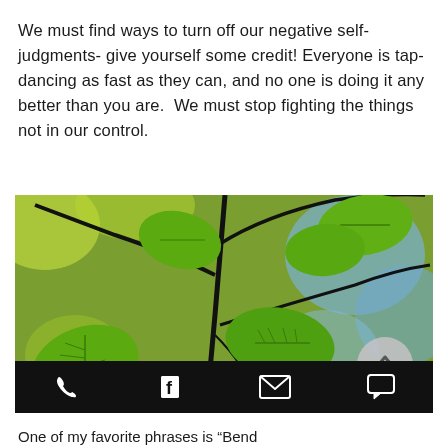We must find ways to turn off our negative self-judgments- give yourself some credit! Everyone is tap-dancing as fast as they can, and no one is doing it any better than you are.  We must stop fighting the things not in our control.
[Figure (photo): Close-up photograph of bright green leaves on dark branches against a blurred yellow-green and blue bokeh background. A semi-transparent circular scroll-up button is visible in the lower right area of the image.]
One of my favorite phrases is  “Bend